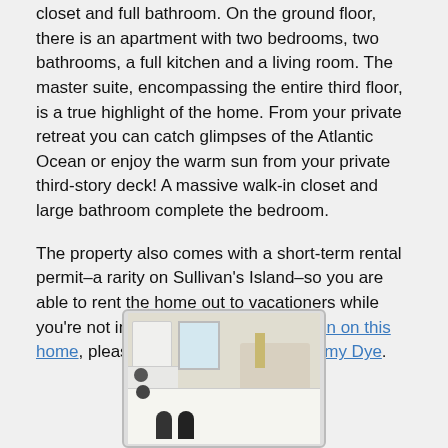closet and full bathroom. On the ground floor, there is an apartment with two bedrooms, two bathrooms, a full kitchen and a living room. The master suite, encompassing the entire third floor, is a true highlight of the home. From your private retreat you can catch glimpses of the Atlantic Ocean or enjoy the warm sun from your private third-story deck! A massive walk-in closet and large bathroom complete the bedroom.
The property also comes with a short-term rental permit–a rarity on Sullivan's Island–so you are able to rent the home out to vacationers while you're not in town. For more information on this home, please contact listing agent Jimmy Dye.
[Figure (photo): Interior photo of a kitchen and living room area showing white appliances including refrigerator and stove, a kitchen counter with bar stools, a window, and a living room seating area in the background.]